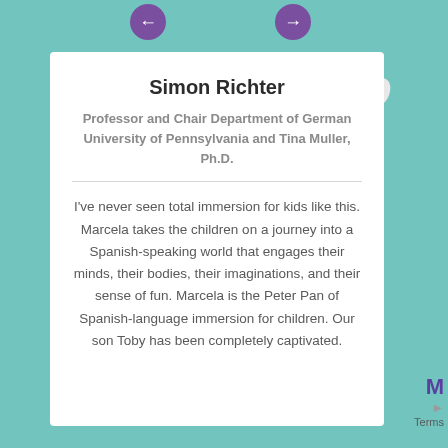Simon Richter
Professor and Chair Department of German University of Pennsylvania and Tina Muller, Ph.D.
I've never seen total immersion for kids like this. Marcela takes the children on a journey into a Spanish-speaking world that engages their minds, their bodies, their imaginations, and their sense of fun. Marcela is the Peter Pan of Spanish-language immersion for children. Our son Toby has been completely captivated.